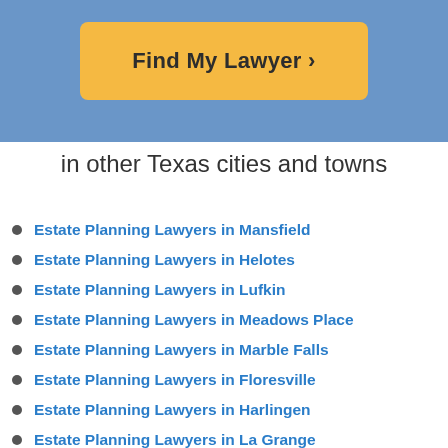[Figure (other): Blue header banner with orange 'Find My Lawyer >' button]
in other Texas cities and towns
Estate Planning Lawyers in Mansfield
Estate Planning Lawyers in Helotes
Estate Planning Lawyers in Lufkin
Estate Planning Lawyers in Meadows Place
Estate Planning Lawyers in Marble Falls
Estate Planning Lawyers in Floresville
Estate Planning Lawyers in Harlingen
Estate Planning Lawyers in La Grange